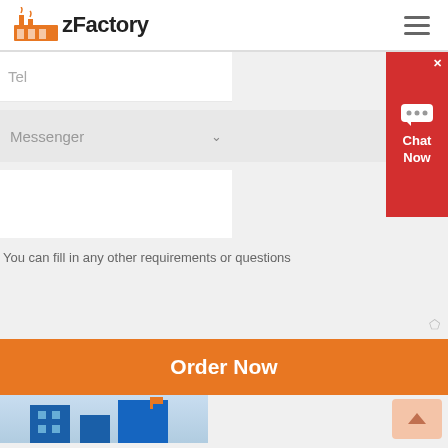[Figure (logo): zFactory logo with orange factory icon and bold text]
Tel
[Figure (screenshot): Chat Now popup widget in red with speech bubble icon and X close button]
Messenger
You can fill in any other requirements or questions
Order Now